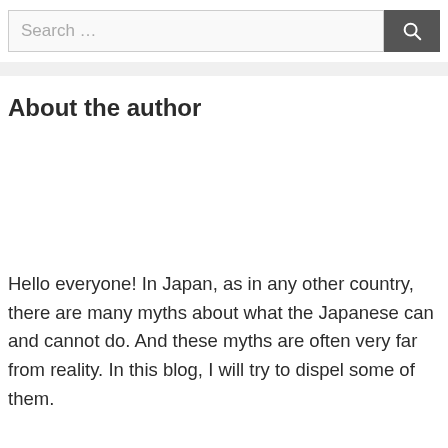Search …
About the author
Hello everyone! In Japan, as in any other country, there are many myths about what the Japanese can and cannot do. And these myths are often very far from reality. In this blog, I will try to dispel some of them.